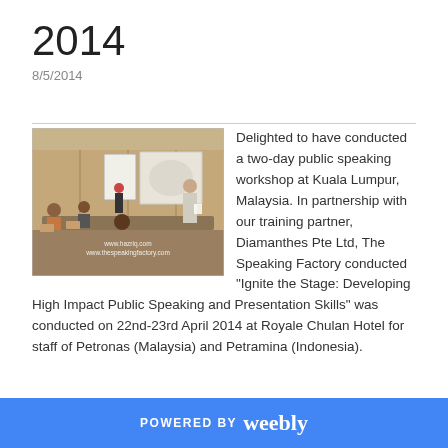2014
8/5/2014
[Figure (photo): Training workshop photo showing participants seated at tables with a presenter standing at the front near a whiteboard and projection screen. Watermark: www.hazriq.com / www.thespeakingfactory.com]
Delighted to have conducted a two-day public speaking workshop at Kuala Lumpur, Malaysia. In partnership with our training partner, Diamanthes Pte Ltd, The Speaking Factory conducted "Ignite the Stage: Developing High Impact Public Speaking and Presentation Skills" was conducted on 22nd-23rd April 2014 at Royale Chulan Hotel for staff of Petronas (Malaysia) and Petramina (Indonesia).
POWERED BY weebly